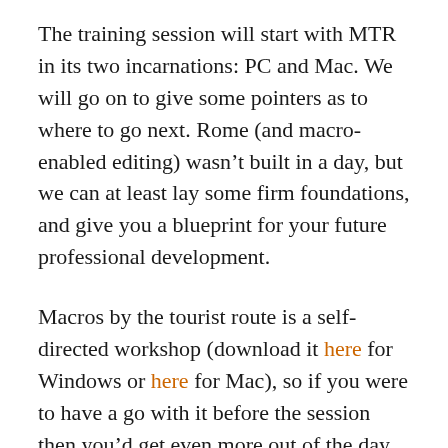The training session will start with MTR in its two incarnations: PC and Mac. We will go on to give some pointers as to where to go next. Rome (and macro-enabled editing) wasn't built in a day, but we can at least lay some firm foundations, and give you a blueprint for your future professional development.
Macros by the tourist route is a self-directed workshop (download it here for Windows or here for Mac), so if you were to have a go with it before the session then you'd get even more out of the day itself. (Compared to last year's online workshop, this will start more slowly, but take you further along the same general direction. If you did last year's training but are still not using macros